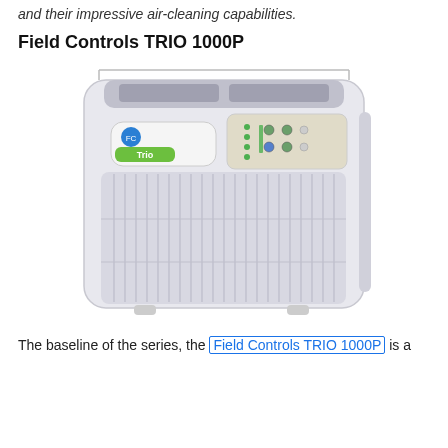and their impressive air-cleaning capabilities.
Field Controls TRIO 1000P
[Figure (photo): Photo of the Field Controls TRIO 1000P air purifier, a large white rectangular unit with vertical grille slats on the front, a green 'Trio' logo badge, a control panel with green indicator lights and buttons on the upper right, and small feet at the bottom.]
The baseline of the series, the Field Controls TRIO 1000P is a relatively small air purifier, best suited for a range of